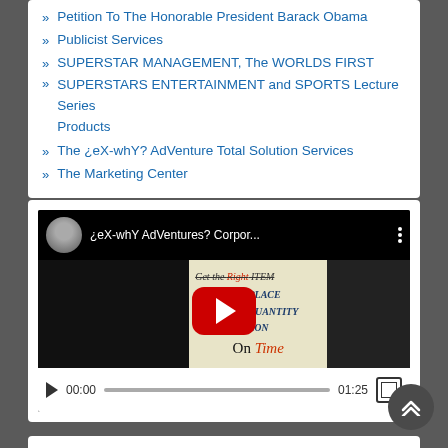» Petition To The Honorable President Barack Obama
» Publicist Services
» SUPERSTAR MANAGEMENT, The WORLDS FIRST
» SUPERSTARS ENTERTAINMENT and SPORTS Lecture Series Products
» The ¿eX-whY? AdVenture Total Solution Services
» The Marketing Center
[Figure (screenshot): YouTube-style embedded video player showing '¿eX-whY AdVentures? Corpor...' with a red play button overlay, video thumbnail showing text 'Get the Right ITEM, To the Right PLACE, In the Right QUANTITY, In the Right [CONDITION], On Time', video controls showing 00:00 / 01:25 with progress bar and fullscreen button]